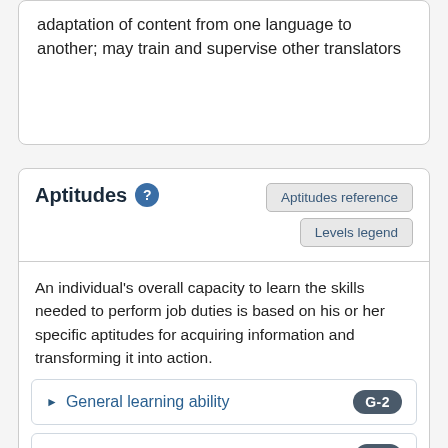adaptation of content from one language to another; may train and supervise other translators
Aptitudes
An individual's overall capacity to learn the skills needed to perform job duties is based on his or her specific aptitudes for acquiring information and transforming it into action.
General learning ability G-2
Verbal ability V-1
Numerical ability N-4